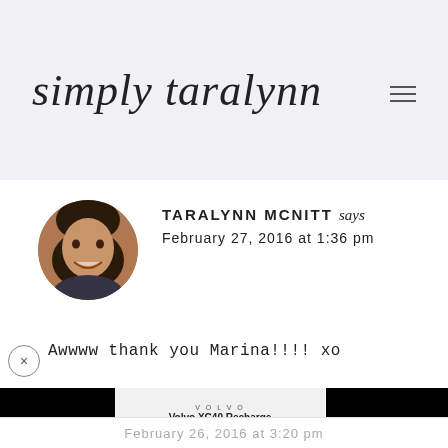simply taralynn
TARALYNN MCNITT says
February 27, 2016 at 1:36 pm
Awwww thank you Marina!!!! xo
[Figure (other): Volvo XC40 Recharge Pure Electric advertisement banner]
February 26, 2016 at 3:20 pm